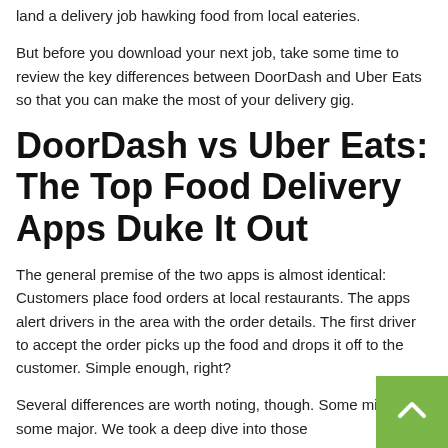land a delivery job hawking food from local eateries.
But before you download your next job, take some time to review the key differences between DoorDash and Uber Eats so that you can make the most of your delivery gig.
DoorDash vs Uber Eats: The Top Food Delivery Apps Duke It Out
The general premise of the two apps is almost identical: Customers place food orders at local restaurants. The apps alert drivers in the area with the order details. The first driver to accept the order picks up the food and drops it off to the customer. Simple enough, right?
Several differences are worth noting, though. Some minor and some major. We took a deep dive into those